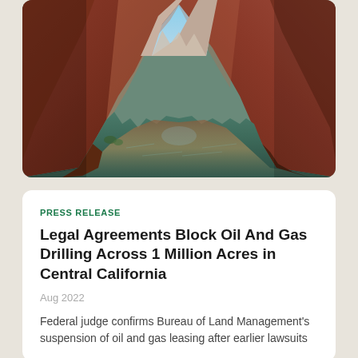[Figure (photo): Aerial/ground-level view of a narrow river canyon with tall red and orange rock walls on both sides, a calm green river reflecting the canyon walls and a blue sky in the center, with mountains visible in the background distance.]
PRESS RELEASE
Legal Agreements Block Oil And Gas Drilling Across 1 Million Acres in Central California
Aug 2022
Federal judge confirms Bureau of Land Management's suspension of oil and gas leasing after earlier lawsuits